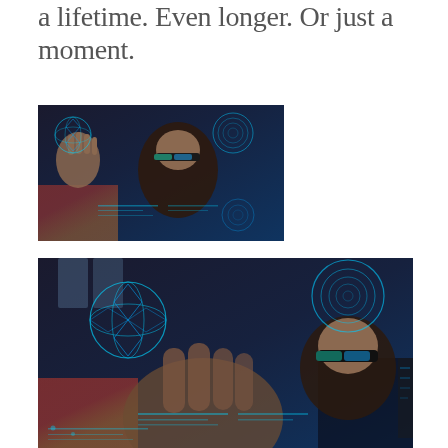a lifetime. Even longer. Or just a moment.
[Figure (photo): Person wearing AR/mixed reality headset glasses interacting with holographic digital overlays, smaller version, left-aligned]
[Figure (photo): Person wearing AR/mixed reality headset glasses interacting with holographic digital overlays, larger/closer version spanning wider width]